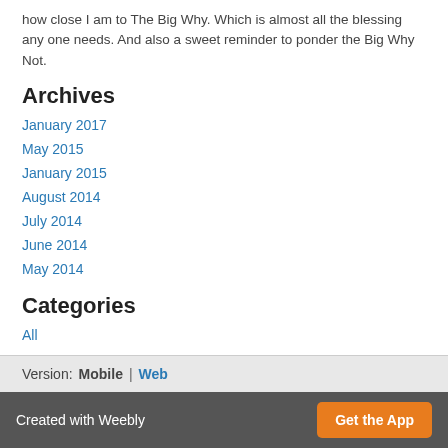how close I am to The Big Why. Which is almost all the blessing any one needs. And also a sweet reminder to ponder the Big Why Not.
Archives
January 2017
May 2015
January 2015
August 2014
July 2014
June 2014
May 2014
Categories
All
RSS Feed
Version: Mobile | Web
Created with Weebly  Get the App